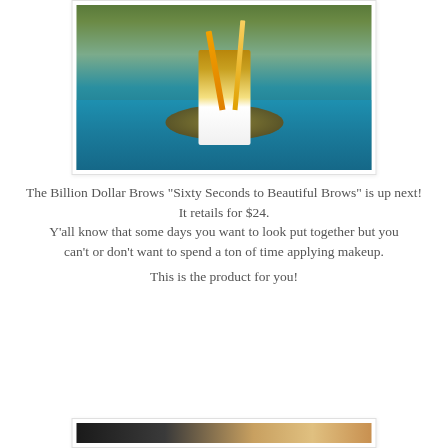[Figure (photo): Photo of a Billion Dollar Brows product box with makeup brushes, displayed on a blue textured towel with a natural outdoor background]
The Billion Dollar Brows "Sixty Seconds to Beautiful Brows" is up next!
It retails for $24.
Y'all know that some days you want to look put together but you can't or don't want to spend a ton of time applying makeup.

This is the product for you!
[Figure (photo): Bottom portion of a second photo, partially visible, showing a person's face]